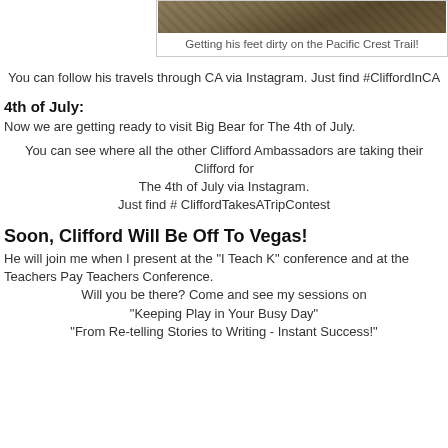[Figure (photo): A photo of feet or trail dirt on the Pacific Crest Trail, partially visible at top of page]
Getting his feet dirty on the Pacific Crest Trail!
You can follow his travels through CA via Instagram. Just find #CliffordInCA
4th of July:
Now we are getting ready to visit Big Bear for The 4th of July.
You can see where all the other Clifford Ambassadors are taking their Clifford for The 4th of July via Instagram. Just find # CliffordTakesATripContest
Soon, Clifford Will Be Off To Vegas!
He will join me when I present at the "I Teach K" conference and at the Teachers Pay Teachers Conference. Will you be there? Come and see my sessions on "Keeping Play in Your Busy Day" "From Re-telling Stories to Writing - Instant Success!"